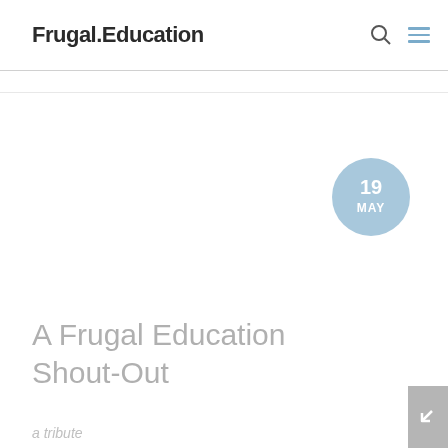Frugal Education
[Figure (other): Date badge circle showing '19 MAY' in light blue]
A Frugal Education Shout-Out